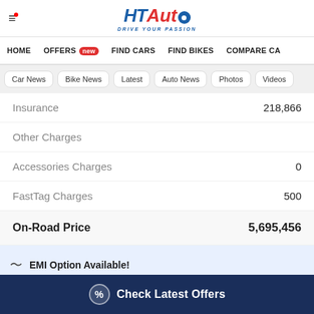HT Auto - Drive Your Passion
HOME | OFFERS new | FIND CARS | FIND BIKES | COMPARE CA
Car News | Bike News | Latest | Auto News | Photos | Videos
| Item | Amount |
| --- | --- |
| Insurance | 218,866 |
| Other Charges |  |
| Accessories Charges | 0 |
| FastTag Charges | 500 |
| On-Road Price | 5,695,456 |
EMI Option Available!
Check Latest Offers